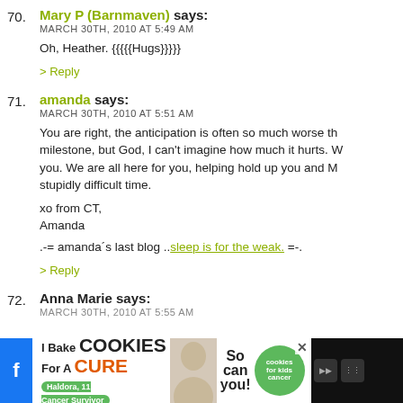70. Mary P (Barnmaven) says:
MARCH 30TH, 2010 AT 5:49 AM
Oh, Heather. {{{{{Hugs}}}}}
> Reply
71. amanda says:
MARCH 30TH, 2010 AT 5:51 AM
You are right, the anticipation is often so much worse th... milestone, but God, I can't imagine how much it hurts. W... you. We are all here for you, helping hold up you and M... stupidly difficult time.
xo from CT,
Amanda
.-= amanda's last blog ..sleep is for the weak. =-.
> Reply
72. Anna Marie says:
MARCH 30TH, 2010 AT 5:55 AM
[Figure (screenshot): Advertisement banner at bottom: 'I Bake COOKIES For A CURE - Haldora, 11 Cancer Survivor - So can you! - cookies for kids cancer' with close button and social media icons]